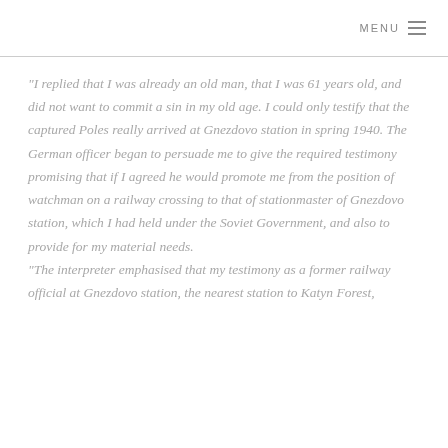MENU
“I replied that I was already an old man, that I was 61 years old, and did not want to commit a sin in my old age. I could only testify that the captured Poles really arrived at Gnezdovo station in spring 1940. The German officer began to persuade me to give the required testimony promising that if I agreed he would promote me from the position of watchman on a railway crossing to that of stationmaster of Gnezdovo station, which I had held under the Soviet Government, and also to provide for my material needs.
“The interpreter emphasised that my testimony as a former railway official at Gnezdovo station, the nearest station to Katyn Forest, was particularly important for the German